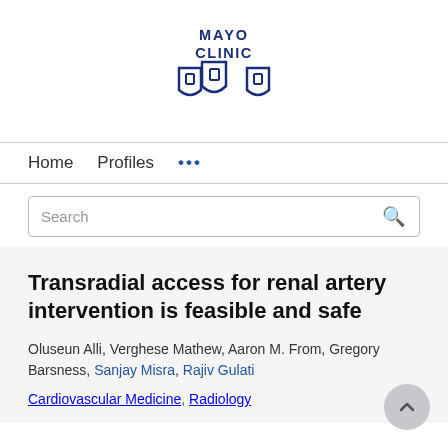[Figure (logo): Mayo Clinic logo with text 'MAYO CLINIC' above three interlocking shield shapes in dark blue]
Home   Profiles   ...
Search
Transradial access for renal artery intervention is feasible and safe
Oluseun Alli, Verghese Mathew, Aaron M. From, Gregory Barsness, Sanjay Misra, Rajiv Gulati
Cardiovascular Medicine, Radiology